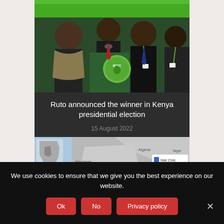[Figure (photo): IEBC officials at a press conference podium with green IEBC logo visible, people in formal attire]
Ruto announced the winner in Kenya presidential election
15 August 2022
[Figure (map): Map showing Mali and surrounding African countries including Algeria, Niger, Mauritania with inset overview of Africa]
We use cookies to ensure that we give you the best experience on our website.